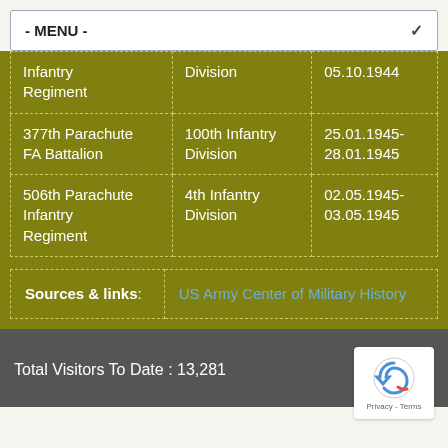- MENU -
| Infantry Regiment | Division | 05.10.1944 |
| 377th Parachute FA Battalion | 100th Infantry Division | 25.01.1945-28.01.1945 |
| 506th Parachute Infantry Regiment | 4th Infantry Division | 02.05.1945-03.05.1945 |
| Sources & links |
| --- |
| Sources & links: | US Army Center of Military History |
Total Visitors To Date : 13,281